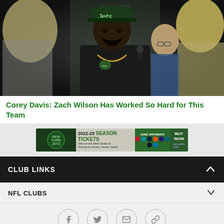[Figure (photo): Corey Davis in a New York Jets cap and black jersey being interviewed, with a man holding a microphone behind him and another person in the foreground.]
Corey Davis: Zach Wilson Has Worked So Hard for This Team
[Figure (infographic): New York Jets 2022-23 Season Tickets advertisement banner showing team logo, home opponents logos, and BUY NOW button with VISA logo.]
CLUB LINKS
NFL CLUBS